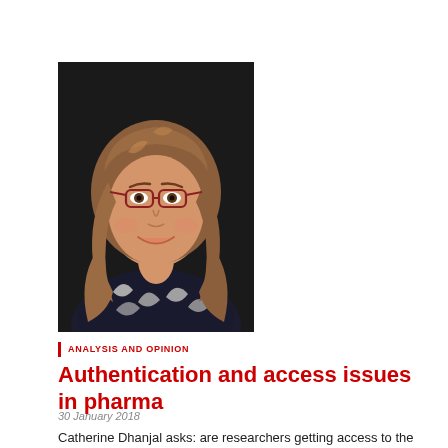[Figure (photo): Portrait photo of a woman with long wavy blonde/auburn hair, wearing glasses and a dark patterned top, smiling at the camera against a dark background.]
ANALYSIS AND OPINION
Authentication and access issues in pharma
30 January 2018
Catherine Dhanjal asks: are researchers getting access to the vital data they need?